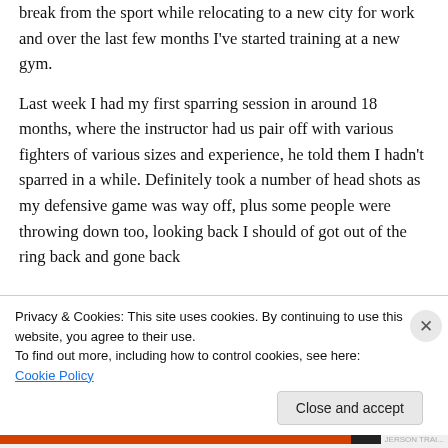break from the sport while relocating to a new city for work and over the last few months I've started training at a new gym.
Last week I had my first sparring session in around 18 months, where the instructor had us pair off with various fighters of various sizes and experience, he told them I hadn't sparred in a while. Definitely took a number of head shots as my defensive game was way off, plus some people were throwing down too, looking back I should of got out of the ring back and gone back
Privacy & Cookies: This site uses cookies. By continuing to use this website, you agree to their use.
To find out more, including how to control cookies, see here: Cookie Policy